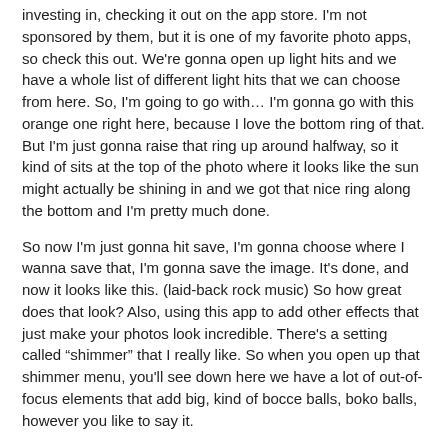investing in, checking it out on the app store. I'm not sponsored by them, but it is one of my favorite photo apps, so check this out. We're gonna open up light hits and we have a whole list of different light hits that we can choose from here. So, I'm going to go with… I'm gonna go with this orange one right here, because I love the bottom ring of that. But I'm just gonna raise that ring up around halfway, so it kind of sits at the top of the photo where it looks like the sun might actually be shining in and we got that nice ring along the bottom and I'm pretty much done.
So now I'm just gonna hit save, I'm gonna choose where I wanna save that, I'm gonna save the image. It's done, and now it looks like this. (laid-back rock music) So how great does that look? Also, using this app to add other effects that just make your photos look incredible. There's a setting called "shimmer" that I really like. So when you open up that shimmer menu, you'll see down here we have a lot of out-of-focus elements that add big, kind of bocce balls, boko balls, however you like to say it.
I'm not the biggest fan of that, sometimes they look great and I have used them, but I like the ones that have streaks, that almost looks like a meteor shower is happening. So I throw that on and you can change the angle, you can make them a little bit bigger if you want and then you can go over and change the opacity so